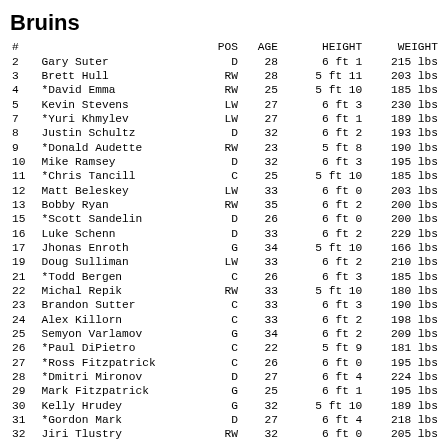Bruins
| # |  | POS | AGE | HEIGHT | WEIGHT |
| --- | --- | --- | --- | --- | --- |
| 2 | Gary Suter | D | 28 | 6 ft 1 | 215 lbs |
| 3 | Brett Hull | RW | 28 | 5 ft 11 | 203 lbs |
| 4 | *David Emma | RW | 25 | 5 ft 10 | 185 lbs |
| 5 | Kevin Stevens | LW | 27 | 6 ft 3 | 230 lbs |
| 7 | *Yuri Khmylev | LW | 27 | 6 ft 1 | 189 lbs |
| 8 | Justin Schultz | D | 32 | 6 ft 2 | 193 lbs |
| 9 | *Donald Audette | RW | 23 | 5 ft 8 | 190 lbs |
| 10 | Mike Ramsey | D | 32 | 6 ft 3 | 195 lbs |
| 11 | *Chris Tancill | C | 25 | 5 ft 10 | 185 lbs |
| 12 | Matt Beleskey | LW | 33 | 6 ft 0 | 203 lbs |
| 13 | Bobby Ryan | RW | 35 | 6 ft 2 | 200 lbs |
| 15 | *Scott Sandelin | D | 26 | 6 ft 0 | 200 lbs |
| 16 | Luke Schenn | D | 33 | 6 ft 2 | 229 lbs |
| 17 | Jhonas Enroth | G | 34 | 5 ft 10 | 166 lbs |
| 19 | Doug Sulliman | LW | 33 | 6 ft 2 | 210 lbs |
| 21 | *Todd Bergen | C | 26 | 6 ft 3 | 185 lbs |
| 22 | Michal Repik | RW | 33 | 5 ft 10 | 180 lbs |
| 23 | Brandon Sutter | C | 33 | 6 ft 3 | 190 lbs |
| 24 | Alex Killorn | C | 33 | 6 ft 2 | 198 lbs |
| 25 | Semyon Varlamov | G | 34 | 6 ft 2 | 209 lbs |
| 26 | *Paul DiPietro | C | 22 | 5 ft 9 | 181 lbs |
| 27 | *Ross Fitzpatrick | C | 26 | 6 ft 0 | 195 lbs |
| 28 | *Dmitri Mironov | D | 27 | 6 ft 4 | 224 lbs |
| 29 | Mark Fitzpatrick | G | 25 | 6 ft 1 | 195 lbs |
| 30 | Kelly Hrudey | G | 32 | 5 ft 10 | 189 lbs |
| 31 | *Gordon Mark | D | 27 | 6 ft 4 | 218 lbs |
| 32 | Jiri Tlustry | RW | 32 | 6 ft 0 | 205 lbs |